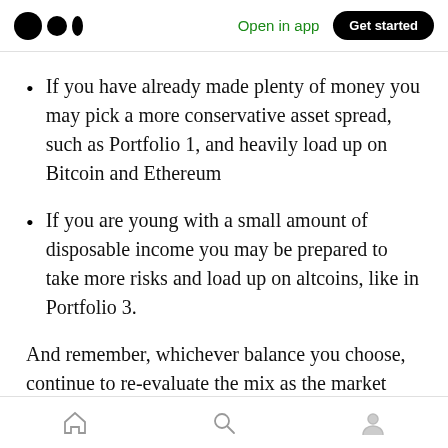Medium app header: Open in app | Get started
If you have already made plenty of money you may pick a more conservative asset spread, such as Portfolio 1, and heavily load up on Bitcoin and Ethereum
If you are young with a small amount of disposable income you may be prepared to take more risks and load up on altcoins, like in Portfolio 3.
And remember, whichever balance you choose, continue to re-evaluate the mix as the market
Bottom navigation bar: Home, Search, Profile